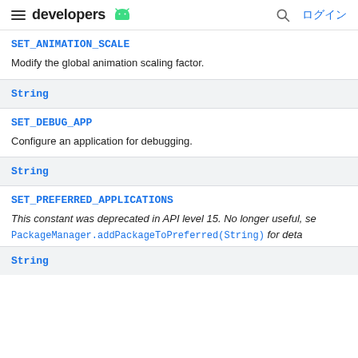developers ログイン
SET_ANIMATION_SCALE
Modify the global animation scaling factor.
String
SET_DEBUG_APP
Configure an application for debugging.
String
SET_PREFERRED_APPLICATIONS
This constant was deprecated in API level 15. No longer useful, see PackageManager.addPackageToPreferred(String) for deta
String